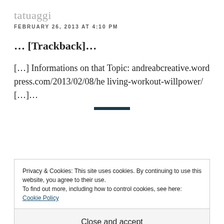tatuaggi
FEBRUARY 26, 2013 AT 4:10 PM
… [Trackback]…
[…] Informations on that Topic: andreabcreative.wordpress.com/2013/02/08/he living-workout-willpower/ […]…
Privacy & Cookies: This site uses cookies. By continuing to use this website, you agree to their use. To find out more, including how to control cookies, see here: Cookie Policy
Close and accept
[Trackback]